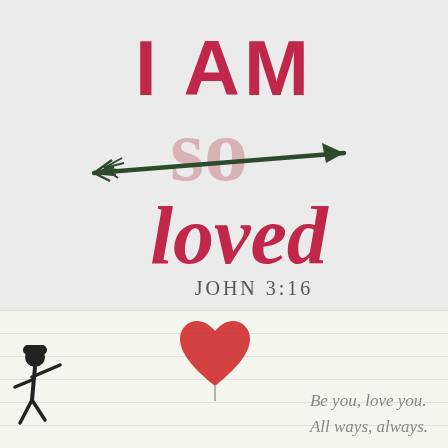[Figure (illustration): Decorative graphic with text 'I AM so loved' in pink/crimson lettering with a dark green arrow through 'so', and 'JOHN 3:16' below in dark serif font, on a light gray background.]
[Figure (illustration): Lower card section with lined paper background, a red hand-drawn heart balloon at top center, a small silhouette figure of a dancing person on the lower left, and italic text 'Be you, love you. All ways, always.' on the lower right.]